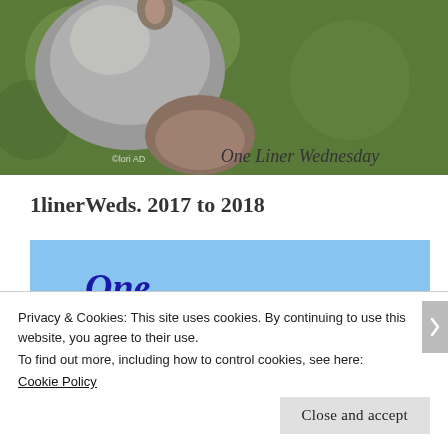[Figure (photo): A photo of a squirrel close-up with 'One Liner Wednesday' text overlay on green/brown background]
1linerWeds. 2017 to 2018
[Figure (photo): One Liner Wednesday blog banner with birds sitting on power lines against a blue sky background, with bold blue text reading 'One Liner Wednesday']
Privacy & Cookies: This site uses cookies. By continuing to use this website, you agree to their use.
To find out more, including how to control cookies, see here:
Cookie Policy
Close and accept